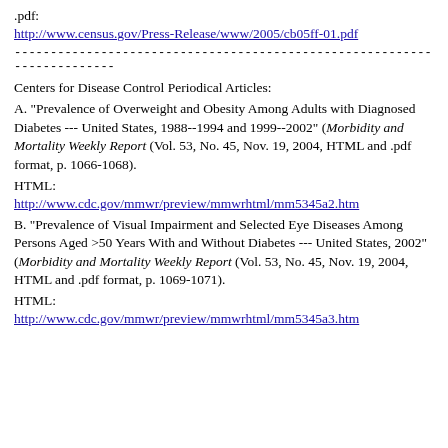.pdf:
http://www.census.gov/Press-Release/www/2005/cb05ff-01.pdf
------------------------------------------------------------------------
Centers for Disease Control Periodical Articles:
A. "Prevalence of Overweight and Obesity Among Adults with Diagnosed Diabetes --- United States, 1988--1994 and 1999--2002" (_Morbidity and Mortality Weekly Report_ (Vol. 53, No. 45, Nov. 19, 2004, HTML and .pdf format, p. 1066-1068).
HTML:
http://www.cdc.gov/mmwr/preview/mmwrhtml/mm5345a2.htm
B. "Prevalence of Visual Impairment and Selected Eye Diseases Among Persons Aged >50 Years With and Without Diabetes --- United States, 2002" (_Morbidity and Mortality Weekly Report_ (Vol. 53, No. 45, Nov. 19, 2004, HTML and .pdf format, p. 1069-1071).
HTML:
http://www.cdc.gov/mmwr/preview/mmwrhtml/mm5345a3.htm